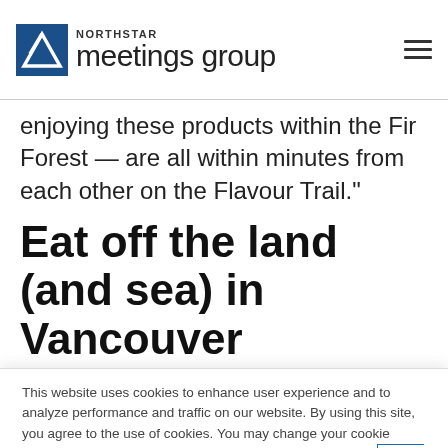Northstar meetings group
enjoying these products within the Fir Forest — are all within minutes from each other on the Flavour Trail."
Eat off the land (and sea) in Vancouver
This website uses cookies to enhance user experience and to analyze performance and traffic on our website. By using this site, you agree to the use of cookies. You may change your cookie settings at any time, but the site may not function properly. Cookie Policy
Close